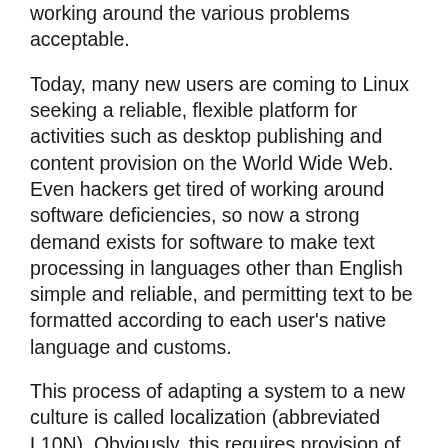working around the various problems acceptable.
Today, many new users are coming to Linux seeking a reliable, flexible platform for activities such as desktop publishing and content provision on the World Wide Web. Even hackers get tired of working around software deficiencies, so now a strong demand exists for software to make text processing in languages other than English simple and reliable, and permitting text to be formatted according to each user's native language and customs.
This process of adapting a system to a new culture is called localization (abbreviated L10N). Obviously, this requires provision of character encodings, display fonts and input methods for the input and display of the user's native language, but it also involves more subtle adjustments to facilities such as the default time system (12 hour or 24 hour) and